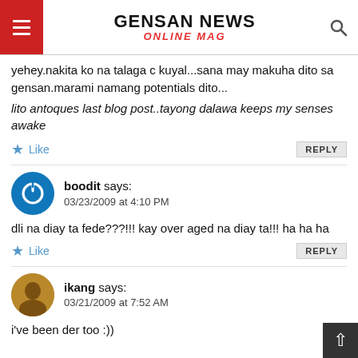GENSAN NEWS ONLINE MAG
yehey.nakita ko na talaga c kuyal...sana may makuha dito sa gensan.marami namang potentials dito...
lito antoques last blog post..tayong dalawa keeps my senses awake
Like  REPLY
boodit says:
03/23/2009 at 4:10 PM
dli na diay ta fede???!!! kay over aged na diay ta!!! ha ha ha
Like  REPLY
ikang says:
03/21/2009 at 7:52 AM
i've been der too :))